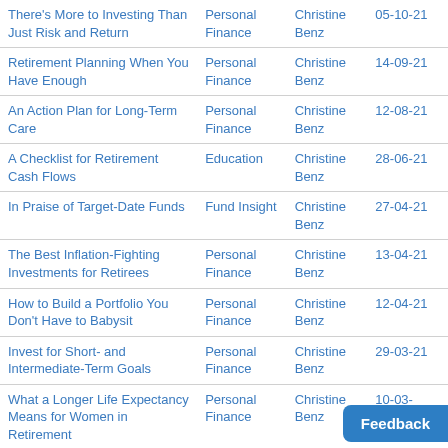| There's More to Investing Than Just Risk and Return | Personal Finance | Christine Benz | 05-10-21 |
| Retirement Planning When You Have Enough | Personal Finance | Christine Benz | 14-09-21 |
| An Action Plan for Long-Term Care | Personal Finance | Christine Benz | 12-08-21 |
| A Checklist for Retirement Cash Flows | Education | Christine Benz | 28-06-21 |
| In Praise of Target-Date Funds | Fund Insight | Christine Benz | 27-04-21 |
| The Best Inflation-Fighting Investments for Retirees | Personal Finance | Christine Benz | 13-04-21 |
| How to Build a Portfolio You Don't Have to Babysit | Personal Finance | Christine Benz | 12-04-21 |
| Invest for Short- and Intermediate-Term Goals | Personal Finance | Christine Benz | 29-03-21 |
| What a Longer Life Expectancy Means for Women in Retirement | Personal Finance | Christine Benz | 10-03- |
| How Do Women Really Invest? | Personal | Christ |  |